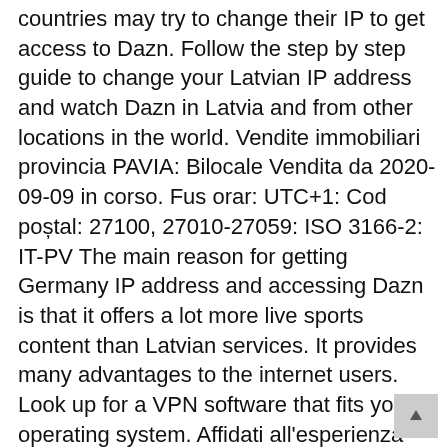countries may try to change their IP to get access to Dazn. Follow the step by step guide to change your Latvian IP address and watch Dazn in Latvia and from other locations in the world. Vendite immobiliari provincia PAVIA: Bilocale Vendita da 2020-09-09 in corso. Fus orar: UTC+1: Cod postal: 27100, 27010-27059: ISO 3166-2: IT-PV The main reason for getting Germany IP address and accessing Dazn is that it offers a lot more live sports content than Latvian services. It provides many advantages to the internet users. Look up for a VPN software that fits your operating system. Affidati all'esperienza pluriennale dei consulenti Gabetti! ExpressVPN review | Mana' Sas di Polenghi Oscar & c. | Valhalla | Black Bull Pub | La Locanda Srl | San Siro S.r.l. It launched in 2016 as the OTT service first emerged as an online sports broadcaster, right before the start of the 2016-17 football season. Mappa. Aperitivo locali migliori Pavia Aperitivo locali migliori Pavia con eventi e barman della tua città per entrare nel mondo dell'aperitivo di tutta Italia. Puoi iniziare a generare più interazioni avviando campagne pubblicitarie oppure offrendo coupon o offerte. Moreover, it is easy to unblock Dazn in Latvia. Countries Go. Since Dazn o a